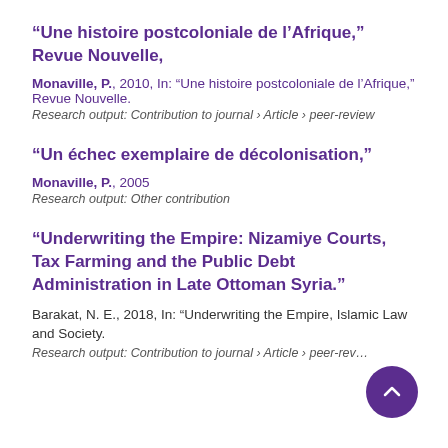“Une histoire postcoloniale de l’Afrique,” Revue Nouvelle,
Monaville, P., 2010, In: “Une histoire postcoloniale de l’Afrique,” Revue Nouvelle.
Research output: Contribution to journal › Article › peer-review
“Un échec exemplaire de décolonisation,”
Monaville, P., 2005
Research output: Other contribution
“Underwriting the Empire: Nizamiye Courts, Tax Farming and the Public Debt Administration in Late Ottoman Syria.”
Barakat, N. E., 2018, In: “Underwriting the Empire, Islamic Law and Society.
Research output: Contribution to journal › Article › peer-review